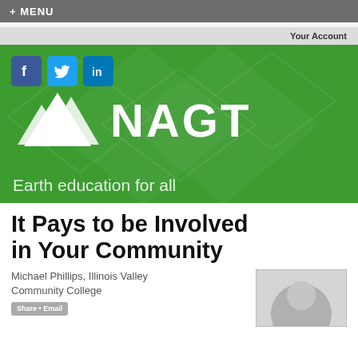+ MENU
Your Account
[Figure (logo): NAGT logo with mountain peaks icon and text 'NAGT' on green background with tagline 'Earth education for all'. Social media icons for Facebook, Twitter, LinkedIn shown at top left.]
It Pays to be Involved in Your Community
Michael Phillips, Illinois Valley Community College
[Figure (photo): Circular headshot photo of a person, partially visible at bottom right of page.]